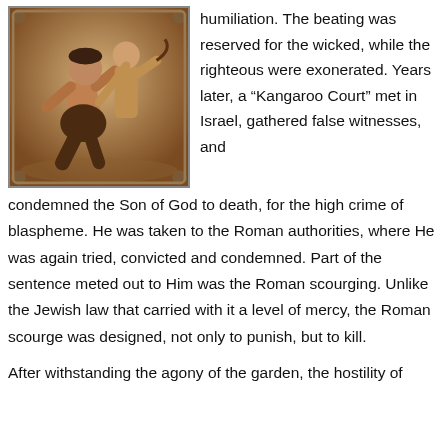[Figure (illustration): A painting or illustration depicting a figure being beaten or scourged, shown in muted earth tones.]
humiliation. The beating was reserved for the wicked, while the righteous were exonerated. Years later, a “Kangaroo Court” met in Israel, gathered false witnesses, and condemned the Son of God to death, for the high crime of blaspheme. He was taken to the Roman authorities, where He was again tried, convicted and condemned. Part of the sentence meted out to Him was the Roman scourging. Unlike the Jewish law that carried with it a level of mercy, the Roman scourge was designed, not only to punish, but to kill.
After withstanding the agony of the garden, the hostility of